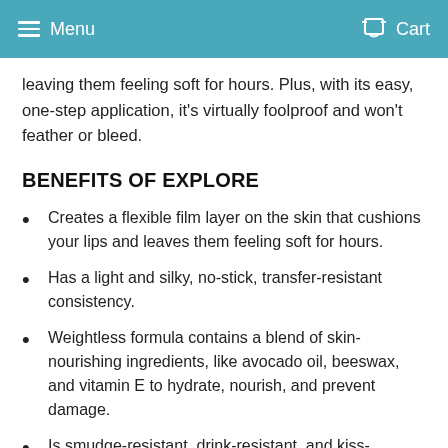Menu  Cart
leaving them feeling soft for hours. Plus, with its easy, one-step application, it's virtually foolproof and won't feather or bleed.
BENEFITS OF EXPLORE
Creates a flexible film layer on the skin that cushions your lips and leaves them feeling soft for hours.
Has a light and silky, no-stick, transfer-resistant consistency.
Weightless formula contains a blend of skin-nourishing ingredients, like avocado oil, beeswax, and vitamin E to hydrate, nourish, and prevent damage.
Is smudge-resistant, drink-resistant, and kiss-resistant.
Won't feather or bleed into lines around or above lips.